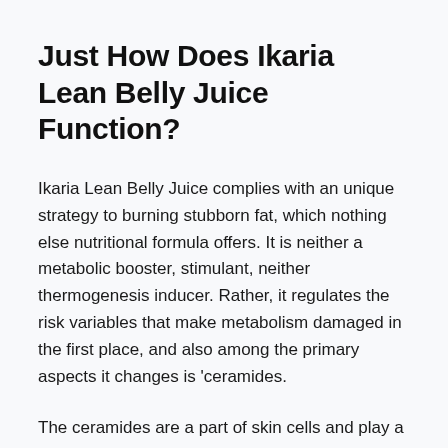Just How Does Ikaria Lean Belly Juice Function?
Ikaria Lean Belly Juice complies with an unique strategy to burning stubborn fat, which nothing else nutritional formula offers. It is neither a metabolic booster, stimulant, neither thermogenesis inducer. Rather, it regulates the risk variables that make metabolism damaged in the first place, and also among the primary aspects it changes is 'ceramides.
The ceramides are a part of skin cells and play a crucial function in digestion, power manufacturing, as well as fat buildup. So, excessive weight can be